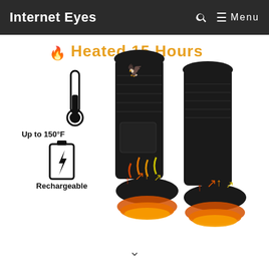Internet Eyes  🔍  ☰ Menu
[Figure (photo): Product photo of black heated socks with orange/red heat arrows at the feet, a thermometer icon labeled 'Up to 150°F', a battery icon labeled 'Rechargeable', an eagle logo on the socks, and text reading 'Heated 15 Hours' in orange at the top.]